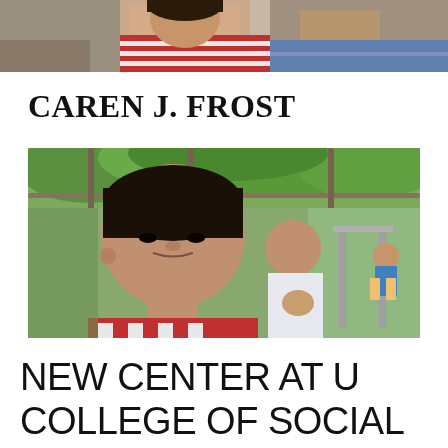[Figure (photo): Partial top photo showing a person in a red and white striped top, cropped at the top of the page]
CAREN J. FROST
[Figure (photo): Outdoor photo of a young Asian man in the foreground looking at camera, a woman holding a baby behind him, and a child on playground equipment in the background under a leafy pergola]
NEW CENTER AT U COLLEGE OF SOCIAL WORK TO FOCUS ON